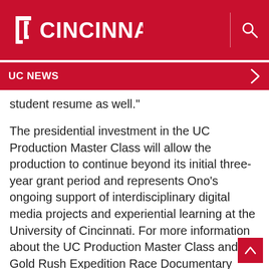UC CINCINNATI
UC NEWS
student resume as well."
The presidential investment in the UC Production Master Class will allow the production to continue beyond its initial three-year grant period and represents Ono's ongoing support of interdisciplinary digital media projects and experiential learning at the University of Cincinnati. For more information about the UC Production Master Class and the Gold Rush Expedition Race Documentary Series, please see
http://goldrushracedoc.com
.